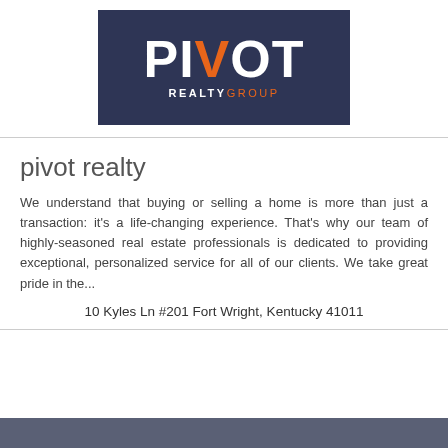[Figure (logo): Pivot Realty Group logo: dark navy background with PIVOT in large white bold letters, the V in orange, and REALTYGROUP in small spaced text below with REALTY in white and GROUP in orange.]
pivot realty
We understand that buying or selling a home is more than just a transaction: it's a life-changing experience. That's why our team of highly-seasoned real estate professionals is dedicated to providing exceptional, personalized service for all of our clients. We take great pride in the...
10 Kyles Ln #201 Fort Wright, Kentucky 41011